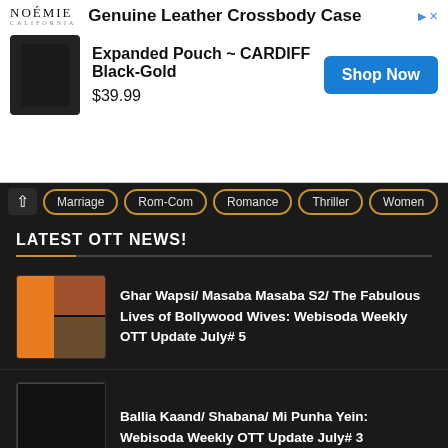[Figure (screenshot): Advertisement banner for NOÉMIE Genuine Leather Crossbody Case - Expanded Pouch CARDIFF Black-Gold, $39.99 with Shop Now button]
Marriage
Rom-Com
Romance
Thriller
Women
LATEST OTT NEWS!
Ghar Wapsi/ Masaba Masaba S2/ The Fabulous Lives of Bollywood Wives: Webisoda Weekly OTT Update July# 5
Ballia Kaand/ Shabana/ Mi Punha Yein: Webisoda Weekly OTT Update July# 3